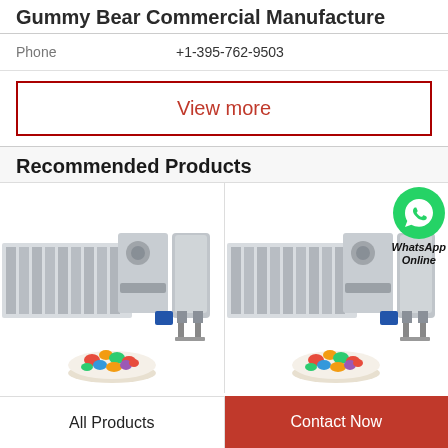Gummy Bear Commercial Manufacture
Phone   +1-395-762-9503
View more
Recommended Products
[Figure (photo): Two side-by-side product images showing industrial gummy bear manufacturing machines with colorful gummy bears in a bowl below]
[Figure (logo): WhatsApp green circle logo with phone icon and text 'WhatsApp Online']
All Products
Contact Now